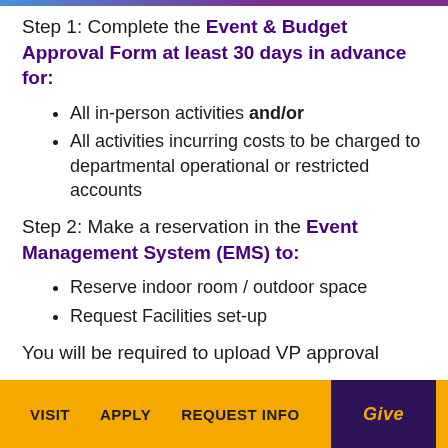Step 1: Complete the Event & Budget Approval Form at least 30 days in advance for:
All in-person activities and/or
All activities incurring costs to be charged to departmental operational or restricted accounts
Step 2: Make a reservation in the Event Management System (EMS) to:
Reserve indoor room / outdoor space
Request Facilities set-up
You will be required to upload VP approval
VISIT   APPLY   REQUEST INFO   Give